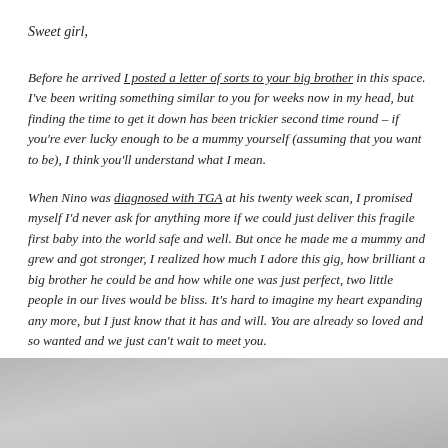Sweet girl,
Before he arrived I posted a letter of sorts to your big brother in this space. I've been writing something similar to you for weeks now in my head, but finding the time to get it down has been trickier second time round – if you're ever lucky enough to be a mummy yourself (assuming that you want to be), I think you'll understand what I mean.
When Nino was diagnosed with TGA at his twenty week scan, I promised myself I'd never ask for anything more if we could just deliver this fragile first baby into the world safe and well. But once he made me a mummy and grew and got stronger, I realized how much I adore this gig, how brilliant a big brother he could be and how while one was just perfect, two little people in our lives would be bliss. It's hard to imagine my heart expanding any more, but I just know that it has and will. You are already so loved and so wanted and we just can't wait to meet you.
[Figure (photo): A partially visible photograph at the bottom of the page, showing a blurred/silvery-grey image, likely related to a baby or ultrasound context.]